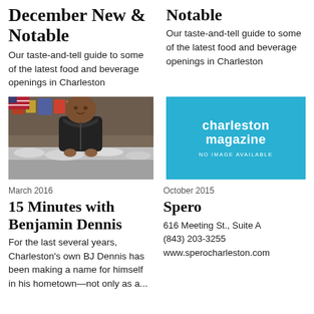December New & Notable
Our taste-and-tell guide to some of the latest food and beverage openings in Charleston
Notable
Our taste-and-tell guide to some of the latest food and beverage openings in Charleston
[Figure (photo): Man in black hoodie standing behind a seafood counter]
[Figure (logo): Charleston Magazine logo on teal/blue background with text NO IMAGE AVAILABLE]
March 2016
October 2015
15 Minutes with Benjamin Dennis
For the last several years, Charleston's own BJ Dennis has been making a name for himself in his hometown—not only as a...
Spero
616 Meeting St., Suite A
(843) 203-3255
www.sperocharleston.com